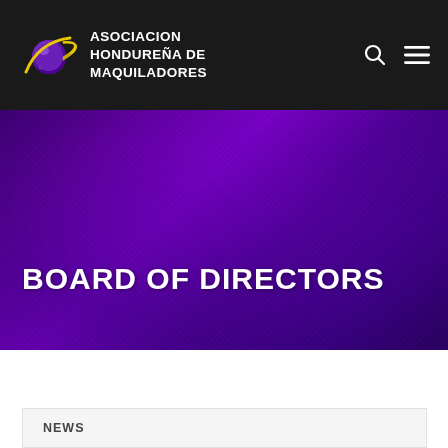[Figure (logo): Asociacion Hondureña de Maquiladores logo — purple planet with golden rings and yellow orbital arc, white text organization name on dark background header]
BOARD OF DIRECTORS
ABOUT
NEWS